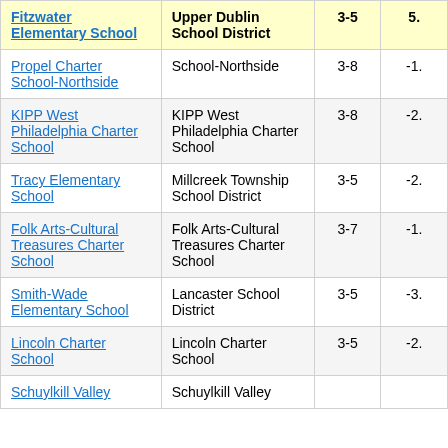| School | District | Grades | Score |
| --- | --- | --- | --- |
| Fitzwater Elementary School | Upper Dublin School District | 3-5 | 5. |
| Propel Charter School-Northside | School-Northside | 3-8 | -1. |
| KIPP West Philadelphia Charter School | KIPP West Philadelphia Charter School | 3-8 | -2. |
| Tracy Elementary School | Millcreek Township School District | 3-5 | -2. |
| Folk Arts-Cultural Treasures Charter School | Folk Arts-Cultural Treasures Charter School | 3-7 | -1. |
| Smith-Wade Elementary School | Lancaster School District | 3-5 | -3. |
| Lincoln Charter School | Lincoln Charter School | 3-5 | -2. |
| Schuylkill Valley | Schuylkill Valley | 3-8 |  |